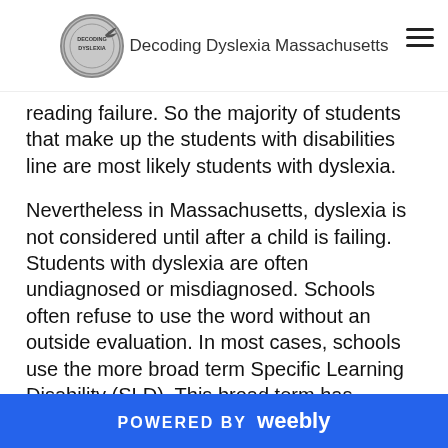Decoding Dyslexia Massachusetts
reading failure. So the majority of students that make up the students with disabilities line are most likely students with dyslexia.
Nevertheless in Massachusetts, dyslexia is not considered until after a child is failing. Students with dyslexia are often undiagnosed or misdiagnosed. Schools often refuse to use the word without an outside evaluation. In most cases, schools use the more broad term Specific Learning Disability (SLD). This broad term has frequently been determined to be subjective and used differently in various districts across the state. Other areas are also used subjectively. In Review of Special Education in the Commonwealth, Report
POWERED BY weebly